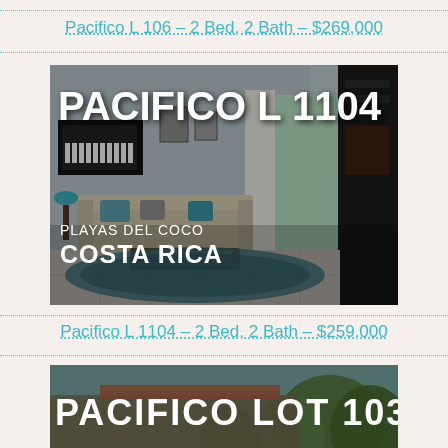Pacifico L 106 – 2 Bed, 2 Bath – $269,000
[Figure (photo): Interior photo of a furnished condominium living room at Pacifico L 1104 in Playas del Coco, Costa Rica. Large text overlay reads PACIFICO L 1104 at top and PLAYAS DEL COCO / COSTA RICA at bottom left.]
Pacifico L 1104 – 2 Bed, 2 Bath – $259,000
[Figure (photo): Exterior photo partially visible showing tropical vegetation and a building, with large text overlay reading PACIFICO LOT 103.]